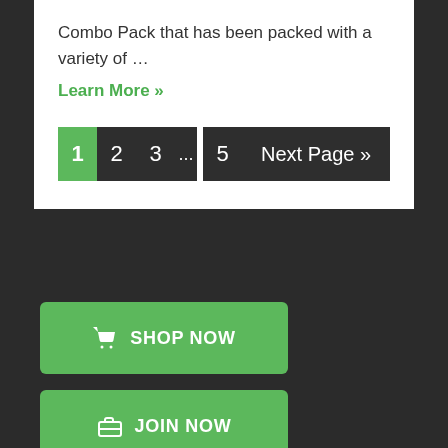Combo Pack that has been packed with a variety of …
Learn More »
1  2  3  ...  5  Next Page »
[Figure (other): Green SHOP NOW button with shopping cart icon]
[Figure (other): Green JOIN NOW button with briefcase icon]